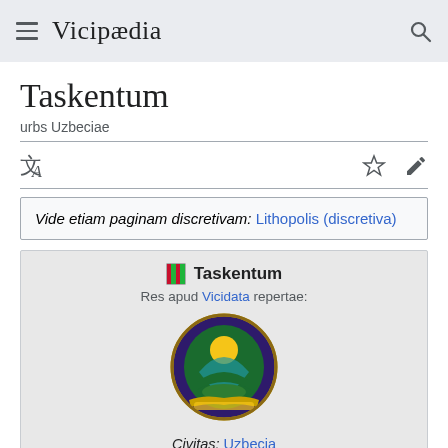Vicipædia
Taskentum
urbs Uzbeciae
Vide etiam paginam discretivam: Lithopolis (discretiva)
[Figure (illustration): Infobox for Taskentum showing coat of arms, Civitas: Uzbecia, Locus: 41°18'0"N 69°16'0"E, Numerus incolarum: 2 571 668]
Civitas: Uzbecia
Locus: 41°18'0"N 69°16'0"E
Numerus incolarum: 2 571 668